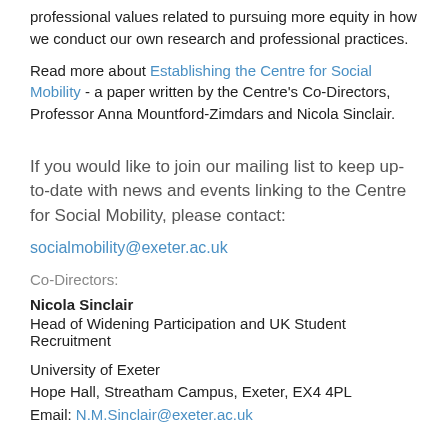professional values related to pursuing more equity in how we conduct our own research and professional practices.
Read more about Establishing the Centre for Social Mobility - a paper written by the Centre's Co-Directors, Professor Anna Mountford-Zimdars and Nicola Sinclair.
If you would like to join our mailing list to keep up-to-date with news and events linking to the Centre for Social Mobility, please contact:
socialmobility@exeter.ac.uk
Co-Directors:
Nicola Sinclair
Head of Widening Participation and UK Student Recruitment
University of Exeter
Hope Hall, Streatham Campus, Exeter, EX4 4PL
Email: N.M.Sinclair@exeter.ac.uk